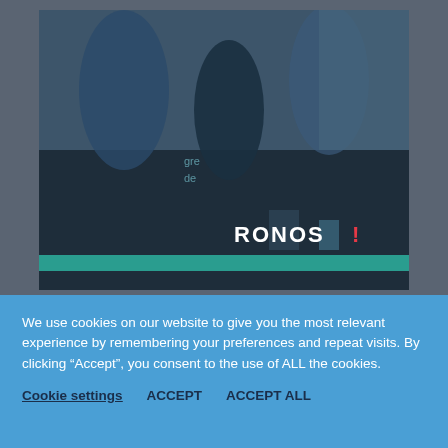[Figure (photo): A photograph of people at what appears to be a trade show or expo event, with a dark booth showing 'KRONOS' branding and a teal/green accent bar at the bottom of the booth. The image is partially cropped.]
[Figure (logo): Hermes Expo International logo with globe graphic. Text reads 'HERMES EXPO' in large dark blue bold letters with 'INTERNATIONAL' in smaller spaced letters below. A teal globe icon appears to the right.]
We use cookies on our website to give you the most relevant experience by remembering your preferences and repeat visits. By clicking “Accept”, you consent to the use of ALL the cookies.
Cookie settings   ACCEPT   ACCEPT ALL